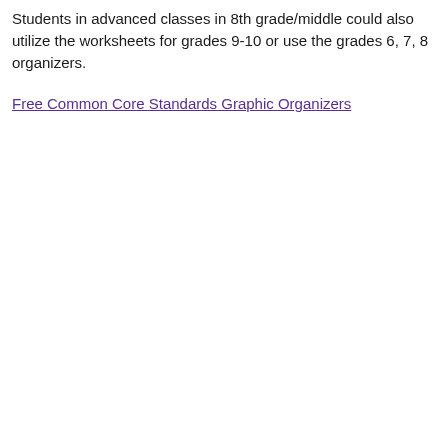Students in advanced classes in 8th grade/middle could also utilize the worksheets for grades 9-10 or use the grades 6, 7, 8 organizers.
Free Common Core Standards Graphic Organizers